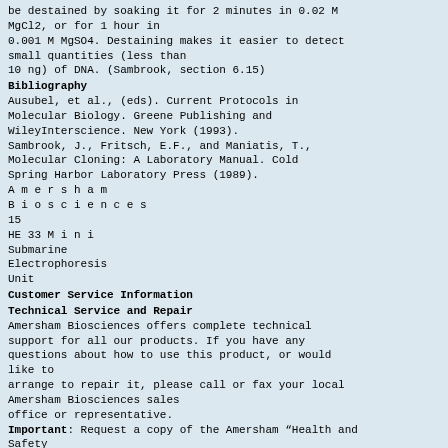be destained by soaking it for 2 minutes in 0.02 M MgCl2, or for 1 hour in 0.001 M MgSO4. Destaining makes it easier to detect small quantities (less than 10 ng) of DNA. (Sambrook, section 6.15)
Bibliography
Ausubel, et al., (eds). Current Protocols in Molecular Biology. Greene Publishing and WileyInterscience. New York (1993).
Sambrook, J., Fritsch, E.F., and Maniatis, T., Molecular Cloning: A Laboratory Manual. Cold Spring Harbor Laboratory Press (1989).
A m e r s h a m
B i o s c i e n c e s
15
HE 33 M i n i
Submarine
Electrophoresis
Unit
Customer Service Information
Technical Service and Repair
Amersham Biosciences offers complete technical support for all our products. If you have any questions about how to use this product, or would like to arrange to repair it, please call or fax your local Amersham Biosciences sales office or representative.
Important: Request a copy of the Amersham “Health and Safety Declaration” Form before returning the item. No items can be accepted for servicing or return unless this form is properly completed.